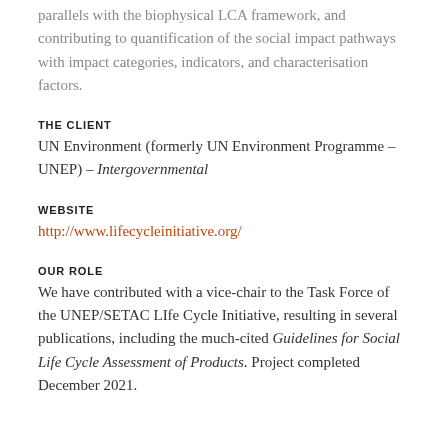parallels with the biophysical LCA framework, and contributing to quantification of the social impact pathways with impact categories, indicators, and characterisation factors.
THE CLIENT
UN Environment (formerly UN Environment Programme – UNEP) – Intergovernmental
WEBSITE
http://www.lifecycleinitiative.org/
OUR ROLE
We have contributed with a vice-chair to the Task Force of the UNEP/SETAC LIfe Cycle Initiative, resulting in several publications, including the much-cited Guidelines for Social Life Cycle Assessment of Products. Project completed December 2021.